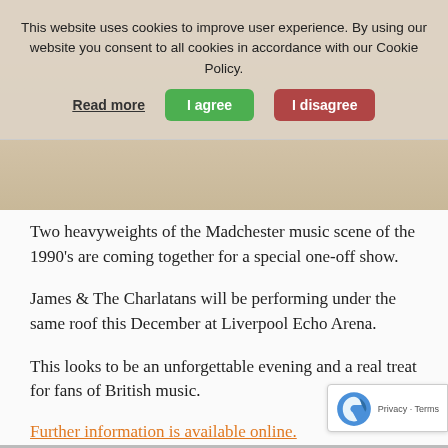This website uses cookies to improve user experience. By using our website you consent to all cookies in accordance with our Cookie Policy. Read more | I agree | I disagree
Two heavyweights of the Madchester music scene of the 1990's are coming together for a special one-off show.
James & The Charlatans will be performing under the same roof this December at Liverpool Echo Arena.
This looks to be an unforgettable evening and a real treat for fans of British music.
Further information is available online.